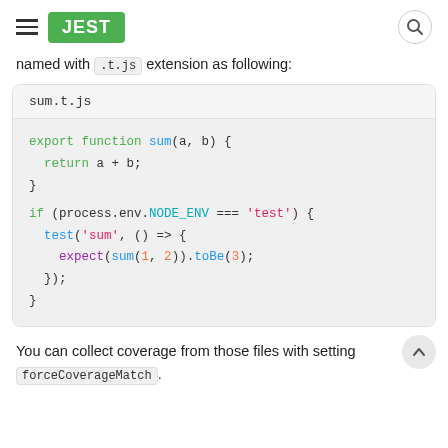JEST
named with `.t.js` extension as following:
[Figure (screenshot): Code block with filename 'sum.t.js' showing: export function sum(a, b) { return a + b; } if (process.env.NODE_ENV === 'test') { test('sum', () => { expect(sum(1, 2)).toBe(3); }); }]
You can collect coverage from those files with setting forceCoverageMatch.